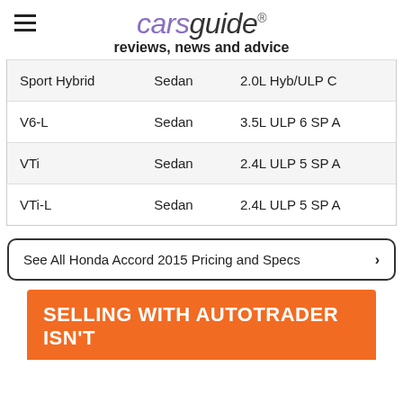carsguide reviews, news and advice
| Model | Body | Engine |
| --- | --- | --- |
| Sport Hybrid | Sedan | 2.0L Hyb/ULP C |
| V6-L | Sedan | 3.5L ULP 6 SP A |
| VTi | Sedan | 2.4L ULP 5 SP A |
| VTi-L | Sedan | 2.4L ULP 5 SP A |
See All Honda Accord 2015 Pricing and Specs >
[Figure (other): Orange advertisement banner with text 'SELLING WITH AUTOTRADER ISN'T']